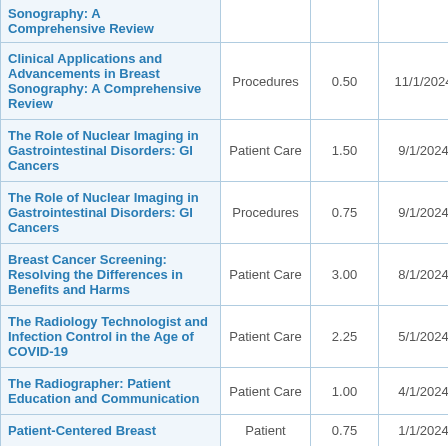| Title | Category | Credits | Date |
| --- | --- | --- | --- |
| Sonography: A Comprehensive Review |  |  |  |
| Clinical Applications and Advancements in Breast Sonography: A Comprehensive Review | Procedures | 0.50 | 11/1/2024 |
| The Role of Nuclear Imaging in Gastrointestinal Disorders: GI Cancers | Patient Care | 1.50 | 9/1/2024 |
| The Role of Nuclear Imaging in Gastrointestinal Disorders: GI Cancers | Procedures | 0.75 | 9/1/2024 |
| Breast Cancer Screening: Resolving the Differences in Benefits and Harms | Patient Care | 3.00 | 8/1/2024 |
| The Radiology Technologist and Infection Control in the Age of COVID-19 | Patient Care | 2.25 | 5/1/2024 |
| The Radiographer: Patient Education and Communication | Patient Care | 1.00 | 4/1/2024 |
| Patient-Centered Breast | Patient | 0.75 | 1/1/2024 |